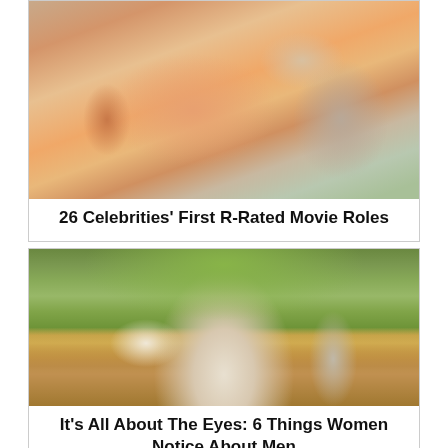[Figure (photo): Young woman with green sunglasses wearing a pink floral top, sitting in a restaurant or cafe setting]
26 Celebrities' First R-Rated Movie Roles
[Figure (photo): Two people embracing outdoors on a dirt path surrounded by trees and vegetation]
It's All About The Eyes: 6 Things Women Notice About Men